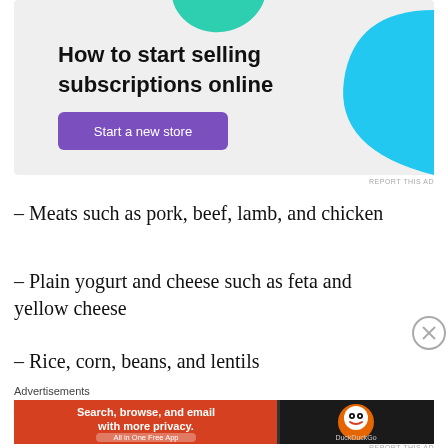[Figure (infographic): Advertisement banner: 'How to start selling subscriptions online' with a purple 'Start a new store' button, green and teal decorative shapes on a light gray background.]
– Meats such as pork, beef, lamb, and chicken
– Plain yogurt and cheese such as feta and yellow cheese
– Rice, corn, beans, and lentils
– Many sorts of vegetables such as green and red
[Figure (infographic): DuckDuckGo advertisement banner: 'Search, browse, and email with more privacy. All in One Free App' on an orange and dark background with DuckDuckGo logo.]